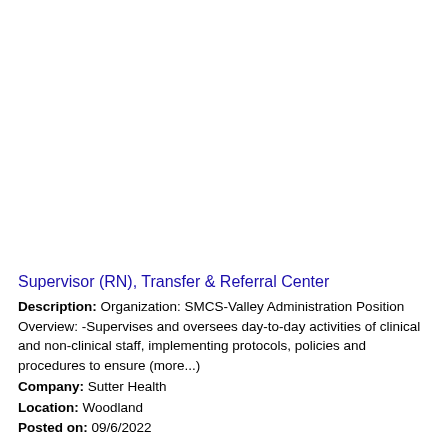Supervisor (RN), Transfer & Referral Center
Description: Organization: SMCS-Valley Administration Position Overview: -Supervises and oversees day-to-day activities of clinical and non-clinical staff, implementing protocols, policies and procedures to ensure (more...)
Company: Sutter Health
Location: Woodland
Posted on: 09/6/2022